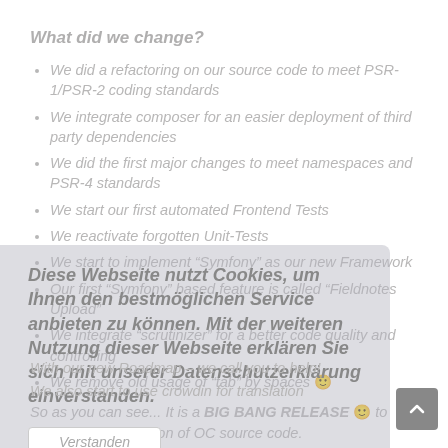What did we change?
We did a refactoring on our source code to meet PSR-1/PSR-2 coding standards
We integrate composer for an easier deployment of third party dependencies
We did the first major changes to meet namespaces and PSR-4 standards
We start our first automated Frontend Tests
We reactivate forgotten Unit-Tests
We start to implement "Symfony" as our new Framework
Our first "Symfony" based feature is called "Fieldnotes Upload"
We integrate "scrutinizer" for a better code quality and controlling
We remove old usage of "tab" by spaces 😊
So as you can see... It is a BIG BANG RELEASE 😊 to start a new generation of OC source code.
Diese Webseite nutzt Cookies, um Ihnen den bestmöglichen Service anbieten zu können. Mit der weiteren Nutzung dieser Webseite erklären Sie sich mit unserer Datenschutzerklärung einverstanden.
Verstanden
With our new Roadmap – we call you to help!
We also start to use crowdin for translation